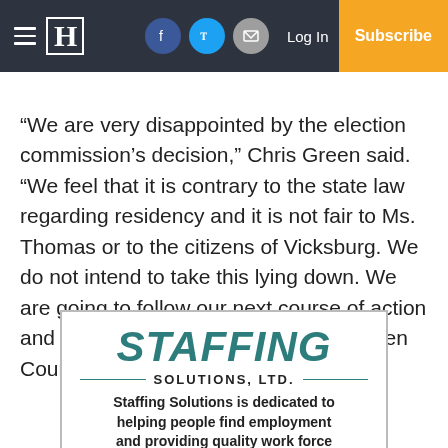Vicksburg newspaper header with hamburger menu, logo (H), Facebook, Twitter, Email icons, Log In, Subscribe
“We are very disappointed by the election commission’s decision,” Chris Green said. “We feel that it is contrary to the state law regarding residency and it is not fair to Ms. Thomas or to the citizens of Vicksburg. We do not intend to take this lying down. We are going to follow our next course of action and appeal it to the circuit court in Warren County.”
[Figure (advertisement): Staffing Solutions, Ltd. advertisement. Title: STAFFING in large teal italic font. Subtitle: SOLUTIONS, LTD. with teal decorative lines on each side. Body text: Staffing Solutions is dedicated to helping people find employment and providing quality work force]